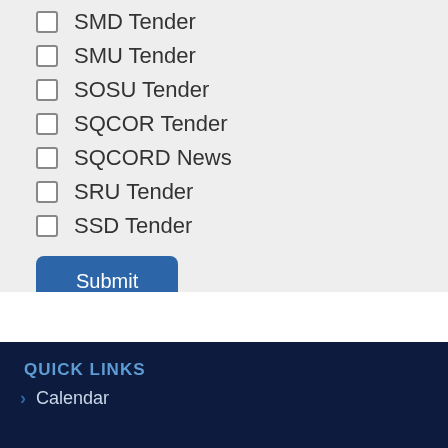SMD Tender
SMU Tender
SOSU Tender
SQCOR Tender
SQCORD News
SRU Tender
SSD Tender
Submit
QUICK LINKS
Calendar